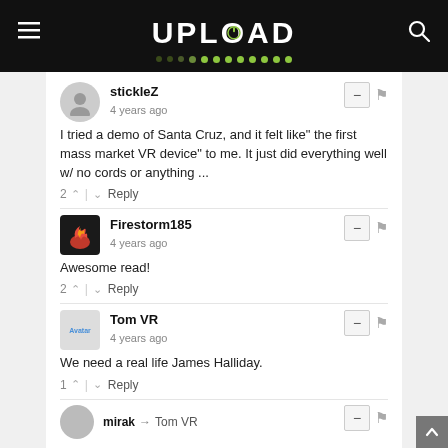UPLOAD
stickleZ
4 years ago
I tried a demo of Santa Cruz, and it felt like" the first mass market VR device" to me. It just did everything well w/ no cords or anything ...
2 ^ | v Reply
Firestorm185
4 years ago
Awesome read!
2 ^ | v Reply
Tom VR
4 years ago
We need a real life James Halliday.
1 ^ | v Reply
mirak → Tom VR